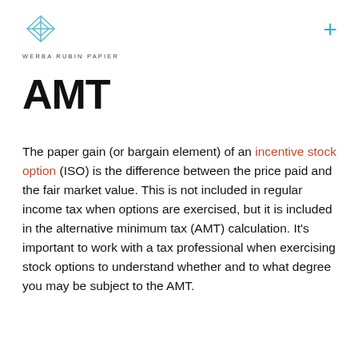[Figure (logo): Werba Rubin Papier logo: geometric diamond/cross shape in teal/blue outline above the text WERBA RUBIN PAPIER]
AMT
The paper gain (or bargain element) of an incentive stock option (ISO) is the difference between the price paid and the fair market value. This is not included in regular income tax when options are exercised, but it is included in the alternative minimum tax (AMT) calculation. It’s important to work with a tax professional when exercising stock options to understand whether and to what degree you may be subject to the AMT.